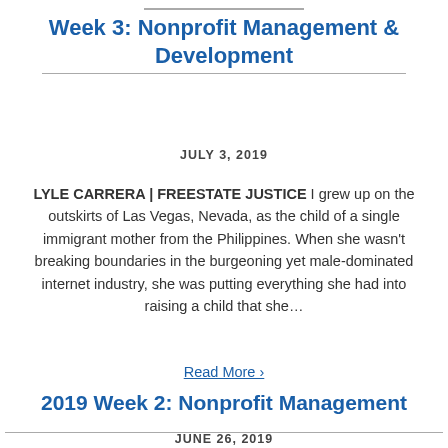Week 3: Nonprofit Management & Development
JULY 3, 2019
LYLE CARRERA | FREESTATE JUSTICE I grew up on the outskirts of Las Vegas, Nevada, as the child of a single immigrant mother from the Philippines. When she wasn't breaking boundaries in the burgeoning yet male-dominated internet industry, she was putting everything she had into raising a child that she…
Read More >
2019 Week 2: Nonprofit Management
JUNE 26, 2019